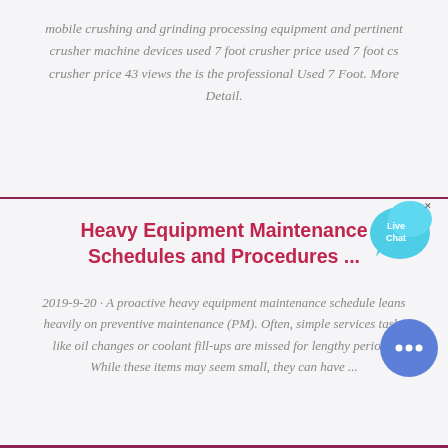mobile crushing and grinding processing equipment and pertinent crusher machine devices used 7 foot crusher price used 7 foot cs crusher price 43 views the is the professional Used 7 Foot. More Detail.
Heavy Equipment Maintenance Schedules and Procedures ...
2019-9-20 · A proactive heavy equipment maintenance schedule leans heavily on preventive maintenance (PM). Often, simple services tasks like oil changes or coolant fill-ups are missed for lengthy periods. While these items may seem small, they can have ...